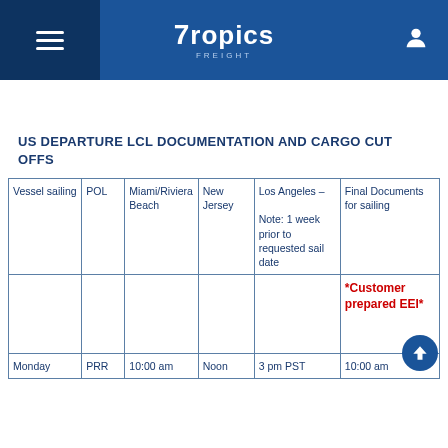Tropics — navigation header with hamburger menu and user icon
US DEPARTURE LCL DOCUMENTATION AND CARGO CUT OFFS
| Vessel sailing | POL | Miami/Riviera Beach | New Jersey | Los Angeles – Note: 1 week prior to requested sail date | Final Documents for sailing |
| --- | --- | --- | --- | --- | --- |
|  |  |  |  |  | *Customer prepared EEI* |
| Monday | PRR | 10:00 am | Noon | 3 pm PST | 10:00 am |